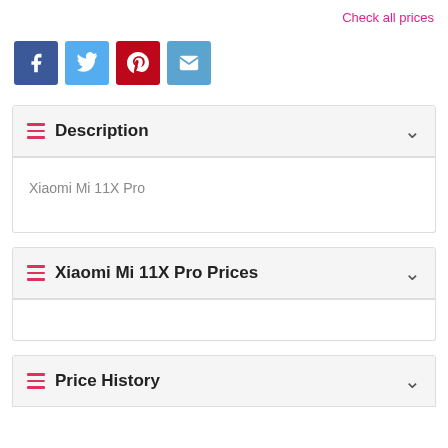Check all prices
[Figure (infographic): Social sharing icons: Facebook (blue), Twitter (light blue), Pinterest (red), Email (teal)]
Description
Xiaomi Mi 11X Pro
Xiaomi Mi 11X Pro Prices
Price History